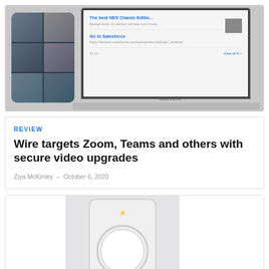[Figure (screenshot): Screenshot showing a video call interface on a smartphone and a MacBook laptop displaying a news/content feed]
REVIEW
Wire targets Zoom, Teams and others with secure video upgrades
Ziya McKinley – October 6, 2020
[Figure (photo): A white smart home device or intercom panel mounted on a light gray wall plate, featuring a circular dial/button in the center, photographed against a light gray background]